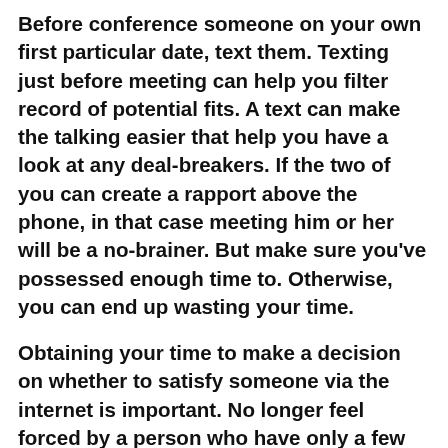Before conference someone on your own first particular date, text them. Texting just before meeting can help you filter record of potential fits. A text can make the talking easier that help you have a look at any deal-breakers. If the two of you can create a rapport above the phone, in that case meeting him or her will be a no-brainer. But make sure you've possessed enough time to. Otherwise, you can end up wasting your time.
Obtaining your time to make a decision on whether to satisfy someone via the internet is important. No longer feel forced by a person who have only a few photos. This is because there's a lot of mystery a part of online dating. Furthermore to flowing into physical intimacy, you also want to make certain you're pleased with the